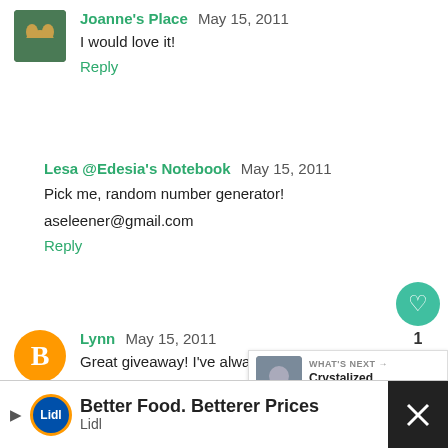[Figure (photo): Small avatar photo showing hands holding pretzels on green background]
Joanne's Place  May 15, 2011
I would love it!
Reply
Lesa @Edesia's Notebook  May 15, 2011
Pick me, random number generator!
aseleener@gmail.com
Reply
[Figure (photo): Blogger B icon orange circle avatar]
Lynn  May 15, 2011
Great giveaway! I've always wanted to use
Reply
[Figure (screenshot): What's Next overlay with thumbnail and text: Crystalized Honey? Don...]
[Figure (other): Advertisement banner: Better Food. Betterer Prices - Lidl]